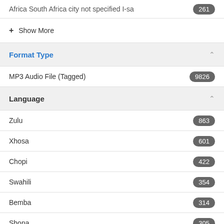Africa South Africa city not specified I-sa 261
+ Show More
Format Type
MP3 Audio File (Tagged) 9826
Language
Zulu 863
Xhosa 601
Chopi 422
Swahili 354
Bemba 314
Shona 305